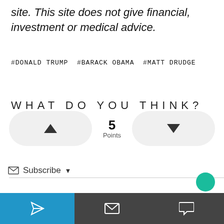site. This site does not give financial, investment or medical advice.
#DONALD TRUMP  #BARACK OBAMA  #MATT DRUDGE
WHAT DO YOU THINK?
[Figure (other): Voting widget with upvote button (triangle up), 5 Points in center, downvote button (triangle down)]
Subscribe
[Figure (other): Bottom navigation bar with share icon (blue section), envelope icon, and comment bubble icon (dark section)]